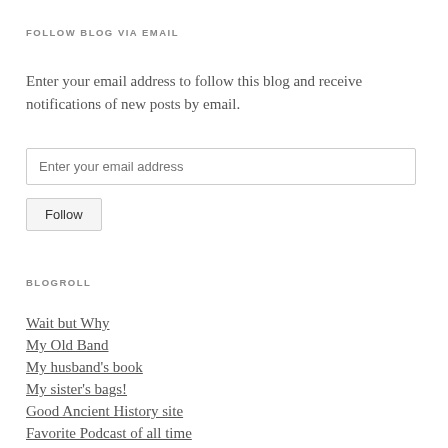FOLLOW BLOG VIA EMAIL
Enter your email address to follow this blog and receive notifications of new posts by email.
BLOGROLL
Wait but Why
My Old Band
My husband's book
My sister's bags!
Good Ancient History site
Favorite Podcast of all time